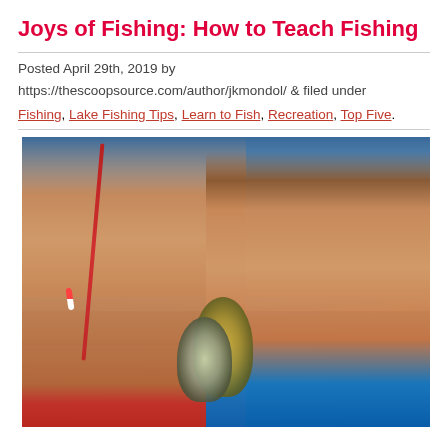Joys of Fishing: How to Teach Fishing
Posted April 29th, 2019 by
https://thescoopsource.com/author/jkmondol/ & filed under
Fishing, Lake Fishing Tips, Learn to Fish, Recreation, Top Five.
[Figure (photo): Two shirtless boys standing near water at sunset/dusk, one holding a red fishing pole and both holding caught fish. The boy on the left is blonde wearing red shorts, the boy on the right is darker-haired wearing blue shorts.]